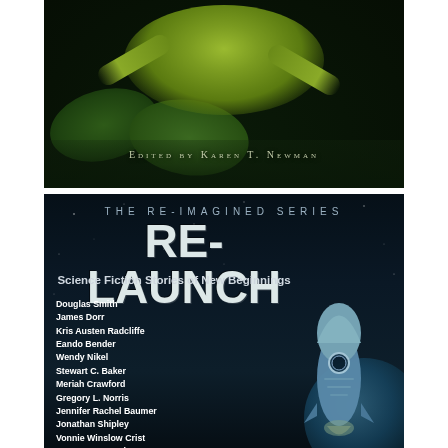[Figure (photo): Top image showing a green frog or amphibian with lily pads on dark water surface, with text 'Edited by Karen T. Newman' overlaid]
[Figure (illustration): Book cover with dark space background featuring a rocket ship. Title 'RE-LAUNCH', subtitle 'The Re-Imagined Series', 'Science Fiction Stories of New Beginnings', with list of author names]
EDITED BY KAREN T. NEWMAN
THE RE-IMAGINED SERIES
RE-LAUNCH
Science Fiction Stories of New Beginnings
Douglas Smith
James Dorr
Kris Austen Radcliffe
Eando Bender
Wendy Nikel
Stewart C. Baker
Meriah Crawford
Gregory L. Norris
Jennifer Rachel Baumer
Jonathan Shipley
Vonnie Winslow Crist
Lawrence Dagstine
CB Droege